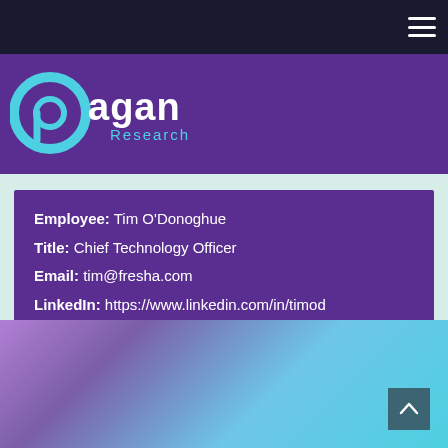Navigation bar with hamburger menu
[Figure (logo): Pagan Research logo with circular P icon in cyan/blue and 'pagan Research' text in white/cyan on purple background]
Employee: Tim O'Donoghue
Title: Chief Technology Officer
Email: tim@fresha.com
LinkedIn: https://www.linkedin.com/in/timod